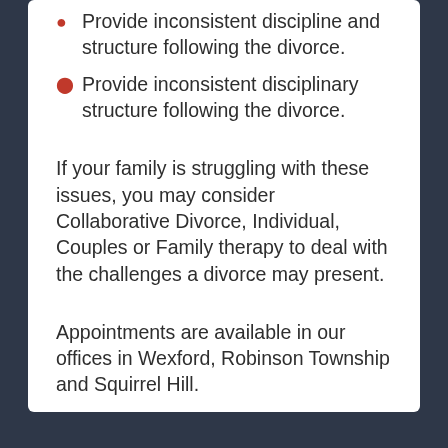Provide inconsistent discipline and structure following the divorce.
Provide inconsistent disciplinary structure following the divorce.
If your family is struggling with these issues, you may consider Collaborative Divorce, Individual, Couples or Family therapy to deal with the challenges a divorce may present.
Appointments are available in our offices in Wexford, Robinson Township and Squirrel Hill.